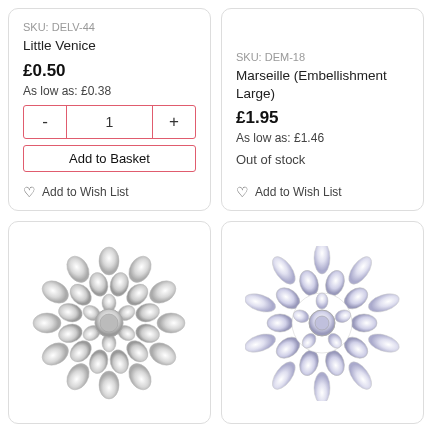SKU: DELV-44
Little Venice
£0.50
As low as: £0.38
Add to Basket
Add to Wish List
SKU: DEM-18
Marseille (Embellishment Large)
£1.95
As low as: £1.46
Out of stock
Add to Wish List
[Figure (photo): Crystal rhinestone brooch embellishment, bottom-left card]
[Figure (photo): Crystal rhinestone brooch embellishment, bottom-right card]